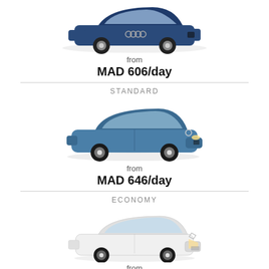[Figure (illustration): Blue Audi sedan car image (partial, top of page)]
from
MAD 606/day
STANDARD
[Figure (illustration): Blue Opel Corsa hatchback car image]
from
MAD 646/day
ECONOMY
[Figure (illustration): White Renault Clio hatchback car image]
from